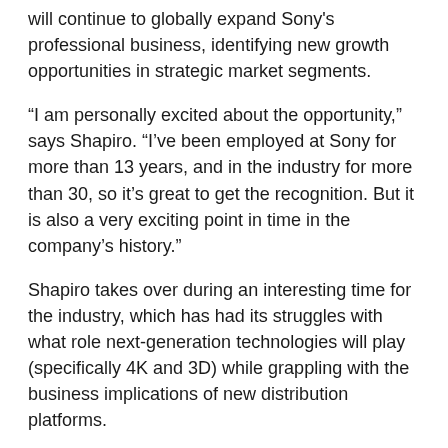will continue to globally expand Sony's professional business, identifying new growth opportunities in strategic market segments.
“I am personally excited about the opportunity,” says Shapiro. “I’ve been employed at Sony for more than 13 years, and in the industry for more than 30, so it’s great to get the recognition. But it is also a very exciting point in time in the company’s history.”
Shapiro takes over during an interesting time for the industry, which has had its struggles with what role next-generation technologies will play (specifically 4K and 3D) while grappling with the business implications of new distribution platforms.
That market “confusion” also requires some simplification of processes within manufacturers and vendors. For example, in recent months, the company has begun breaking down internal product and market silos that often would make a multi-discipline purchase (eg. scoreboard technology, security cameras, digital signage) a more complex process than required within Sony.